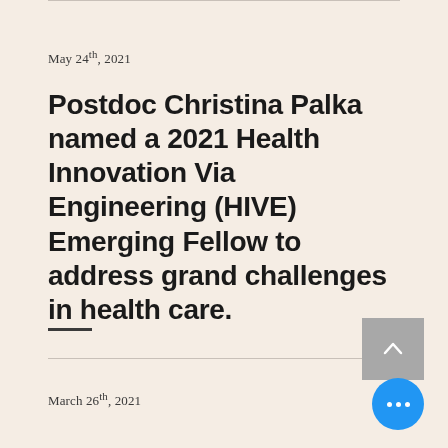May 24th, 2021
Postdoc Christina Palka named a 2021 Health Innovation Via Engineering (HIVE) Emerging Fellow to address grand challenges in health care.
March 26th, 2021